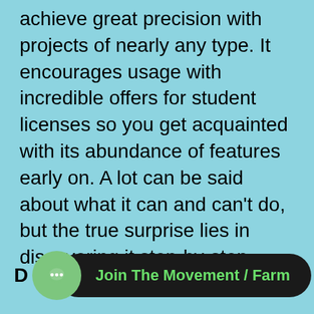achieve great precision with projects of nearly any type. It encourages usage with incredible offers for student licenses so you get acquainted with its abundance of features early on. A lot can be said about what it can and can't do, but the true surprise lies in discovering it step-by-step.
[Figure (other): A green circular chat icon button overlapping a dark pill-shaped button with green text reading 'Join The Movement / Farm', with bold letter D on the left and bold letter p on the right]